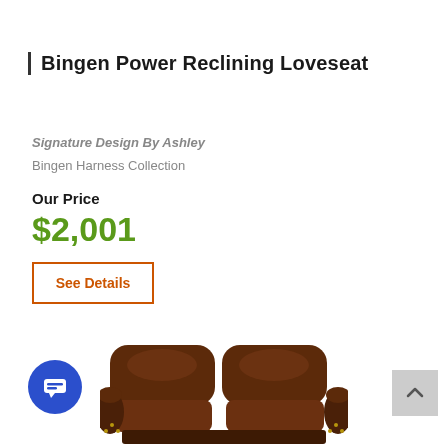Bingen Power Reclining Loveseat
Signature Design By Ashley
Bingen Harness Collection
Our Price
$2,001
See Details
[Figure (photo): Brown leather power reclining loveseat with nail head trim and rolled arms, partially visible at bottom of page]